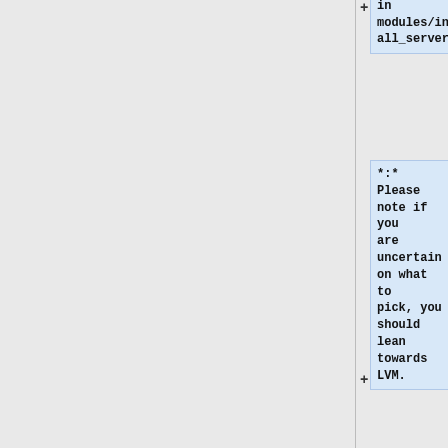located in modules/install_server
*:* Please note if you are uncertain on what to pick, you should lean towards LVM.
*::* Many reasons for this, including ease of expansion in event of filling the disk.